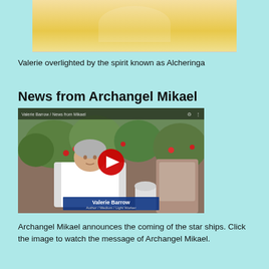[Figure (photo): Partial photo showing a person overlighted by golden/yellow light, cropped at top of page]
Valerie overlighted by the spirit known as Alcheringa
News from Archangel Mikael
[Figure (screenshot): YouTube video thumbnail showing an elderly woman named Valerie Barrow (Author / Medium / Light Worker) seated outdoors with plants in the background. A red YouTube play button is visible in the center. Text overlay at top reads 'Valerie Barrow / News from Mikael'. A name bar reads 'Valerie Barrow / Author / Medium / Light Worker'.]
Archangel Mikael announces the coming of the star ships. Click the image to watch the message of Archangel Mikael.